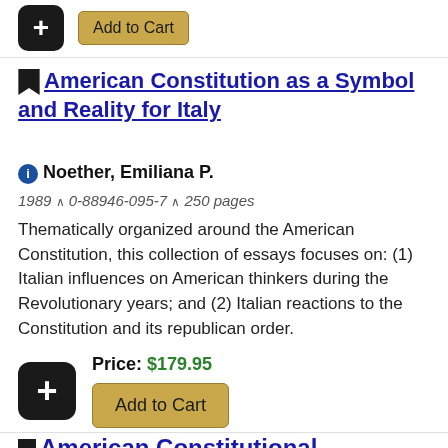[Figure (other): Add to Cart button with plus icon at top of page]
American Constitution as a Symbol and Reality for Italy
Noether, Emiliana P.
1989 ^ 0-88946-095-7 ^ 250 pages
Thematically organized around the American Constitution, this collection of essays focuses on: (1) Italian influences on American thinkers during the Revolutionary years; and (2) Italian reactions to the Constitution and its republican order.
Price: $179.95
[Figure (other): Add to Cart button with plus icon]
American Constitutional